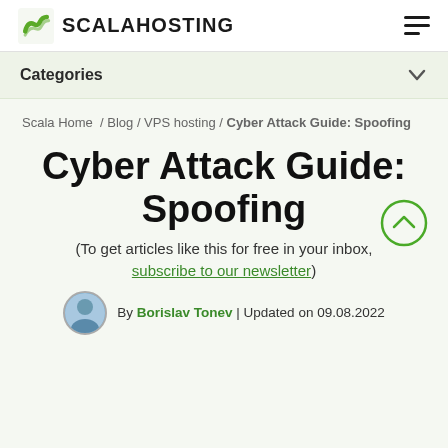SCALAHOSTING
Categories
Scala Home / Blog / VPS hosting / Cyber Attack Guide: Spoofing
Cyber Attack Guide: Spoofing
(To get articles like this for free in your inbox, subscribe to our newsletter)
By Borislav Tonev | Updated on 09.08.2022